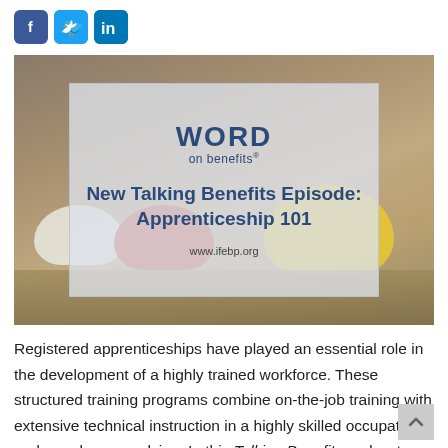[Figure (other): Social media share icons: Facebook (blue F), Twitter (blue bird), LinkedIn (blue in)]
[Figure (illustration): Hero image showing construction hard hats (white, red, yellow) on ground, with an overlay box containing 'WORD on benefits' branding logo and the text 'New Talking Benefits Episode: Apprenticeship 101' and 'www.ifebp.org']
Registered apprenticeships have played an essential role in the development of a highly trained workforce. These structured training programs combine on-the-job training with extensive technical instruction in a highly skilled occupation and are always evolving. In this Talking Benefits podcast episode, we took a deeper dive into new trends in